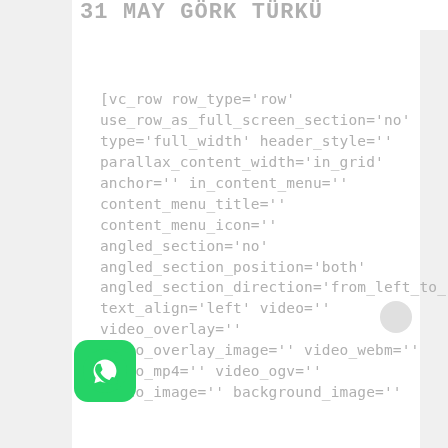31 MAY GÖRK TÜRKÜ
[vc_row row_type='row' use_row_as_full_screen_section='no' type='full_width' header_style='' parallax_content_width='in_grid' anchor='' in_content_menu='' content_menu_title='' content_menu_icon='' angled_section='no' angled_section_position='both' angled_section_direction='from_left_to_right' text_align='left' video='' video_overlay='' video_overlay_image='' video_webm='' video_mp4='' video_ogv='' video_image='' background_image=''
[Figure (logo): WhatsApp green icon with white speech bubble containing a phone handset]